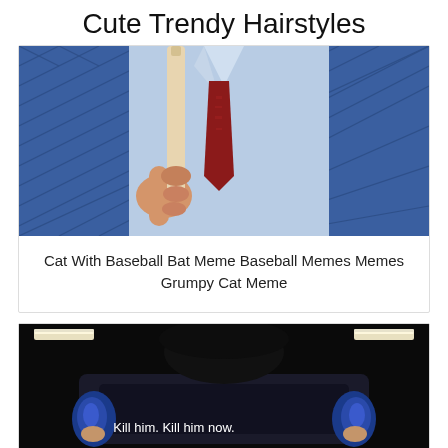Cute Trendy Hairstyles
[Figure (photo): Person in a light blue shirt and dark red patterned tie holding a baseball bat, blue diamond-pattern background]
Cat With Baseball Bat Meme Baseball Memes Memes Grumpy Cat Meme
[Figure (photo): Dark scene with a figure at controls/console, subtitle text 'Kill him. Kill him now.' overlaid; bottom portion shows a traffic light and a Cat in the Hat style striped hat figure]